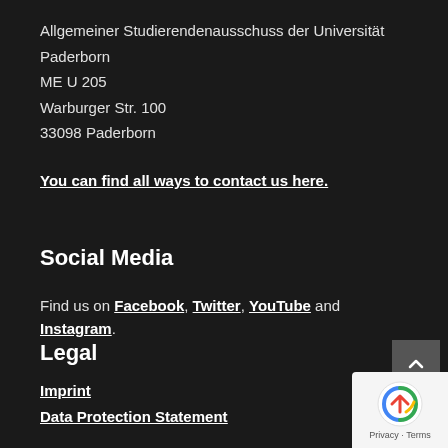Allgemeiner Studierendenausschuss der Universität Paderborn
ME U 205
Warburger Str. 100
33098 Paderborn
You can find all ways to contact us here.
Social Media
Find us on Facebook, Twitter, YouTube and Instagram.
Legal
Imprint
Data Protection Statement
[Figure (other): reCAPTCHA badge with Privacy and Terms links]